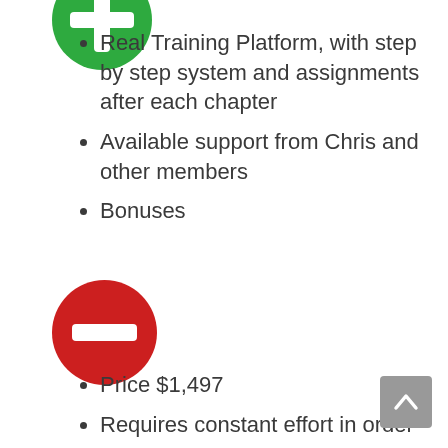[Figure (illustration): Green circle with white plus sign, partially cropped at top]
Real Training Platform, with step by step system and assignments after each chapter
Available support from Chris and other members
Bonuses
[Figure (illustration): Red circle with white minus/dash sign]
Price $1,497
Requires constant effort in order